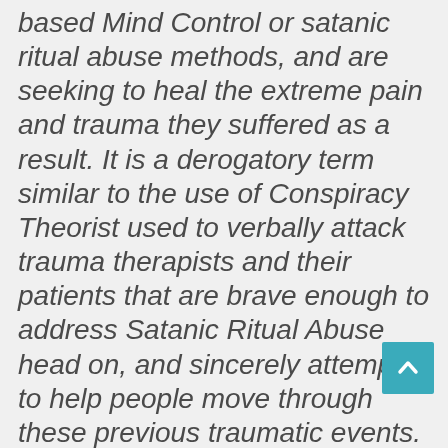based Mind Control or satanic ritual abuse methods, and are seeking to heal the extreme pain and trauma they suffered as a result. It is a derogatory term similar to the use of Conspiracy Theorist used to verbally attack trauma therapists and their patients that are brave enough to address Satanic Ritual Abuse head on, and sincerely attempt to help people move through these previous traumatic events. No person enjoys being publicly crucified, humiliated with character defamation, and so this intimidation tactic works as a